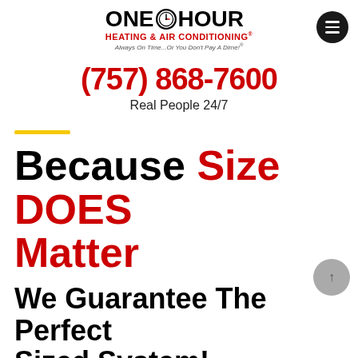[Figure (logo): One Hour Heating & Air Conditioning logo with clock icon, red subtitle text and italic tagline]
(757) 868-7600
Real People 24/7
Because Size DOES Matter
We Guarantee The Perfect Sized System!
It's the only size we ever recommend! When a wrong sized system is installed, it